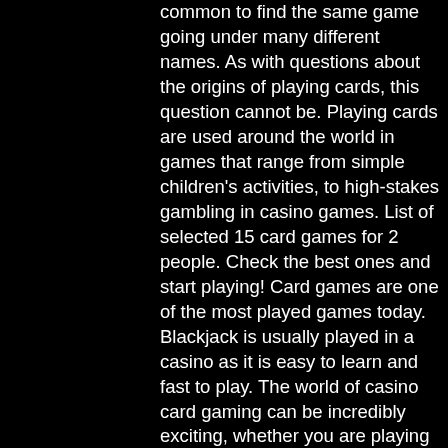common to find the same game going under many different names. As with questions about the origins of playing cards, this question cannot be. Playing cards are used around the world in games that range from simple children's activities, to high-stakes gambling in casino games. List of selected 15 card games for 2 people. Check the best ones and start playing! Card games are one of the most played games today. Blackjack is usually played in a casino as it is easy to learn and fast to play. The world of casino card gaming can be incredibly exciting, whether you are playing
We think we should start with the smallest benefits there are to a VIP membership at the online casino and then work our way up, list of card games played in a casino. Portola Hotel & Spa - Monterey Golf Package, slot machines free stock footage. From $879 3 Nights 3 Rounds Dates: Now - 12/31/21. Carmel Valley Ranch Golf